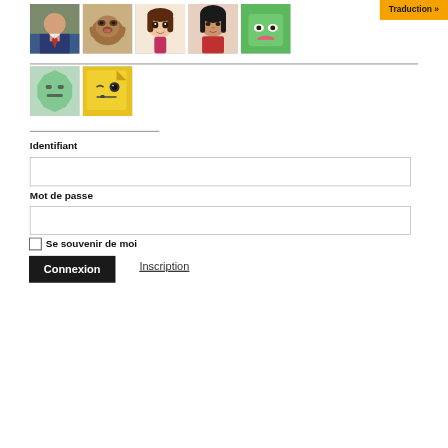[Figure (screenshot): Row of avatar/profile thumbnails: a man in suit, a brown dog, a cartoon girl with brown hair, a woman with dark hair and red outfit, a green robot/monster face]
[Figure (other): Orange button with text 'Traduction »']
[Figure (screenshot): Second row of two avatar thumbnails: a green octagon stop-sign face, and a yellow sticky-note face]
Identifiant
Mot de passe
Se souvenir de moi
Connexion
Inscription